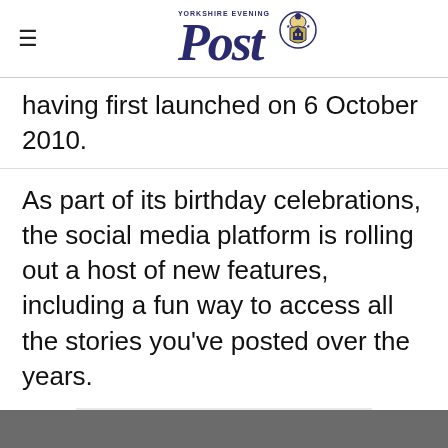Yorkshire Evening Post
having first launched on 6 October 2010.
As part of its birthday celebrations, the social media platform is rolling out a host of new features, including a fun way to access all the stories you’ve posted over the years.
Advertisement
This is everything you need to know.
How do I change the app icon?